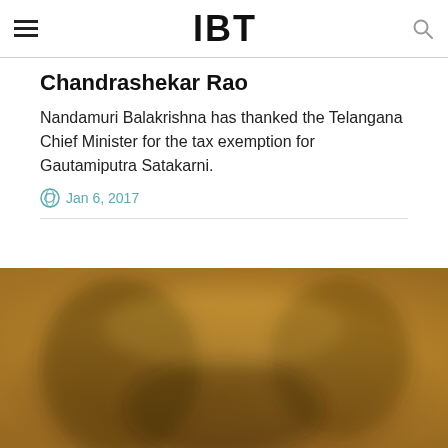IBT
Chandrashekar Rao
Nandamuri Balakrishna has thanked the Telangana Chief Minister for the tax exemption for Gautamiputra Satakarni.
Jan 6, 2017
[Figure (photo): A blurred golden/brown toned photograph, likely showing people or a scene related to the article about Gautamiputra Satakarni film.]